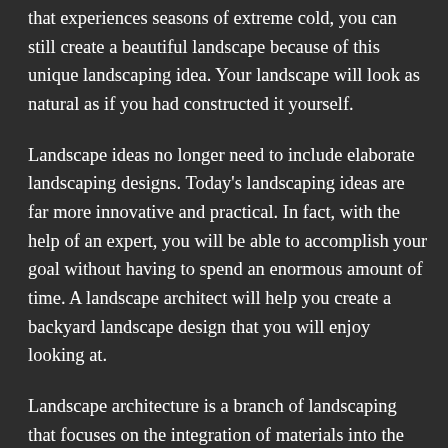that experiences seasons of extreme cold, you can still create a beautiful landscape because of this unique landscaping idea. Your landscape will look as natural as if you had constructed it yourself.
Landscape ideas no longer need to include elaborate landscaping designs. Today's landscaping ideas are far more innovative and practical. In fact, with the help of an expert, you will be able to accomplish your goal without having to spend an enormous amount of time. A landscape architect will help you create a backyard landscape design that you will enjoy looking at.
Landscape architecture is a branch of landscaping that focuses on the integration of materials into the natural environment. Landscape architecture attempts to merge functionality and aesthetic appeal by creating structures that are pleasing to the eye, functional, and